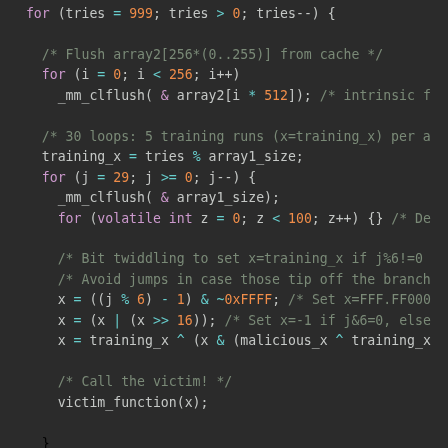[Figure (screenshot): Source code snippet in a dark-themed code editor showing C code for a Spectre-variant attack. The code includes cache flush loops, training runs with bit-twiddling, and timing reads. Uses syntax highlighting with purple keywords, orange numbers, teal operators, and gray comments.]